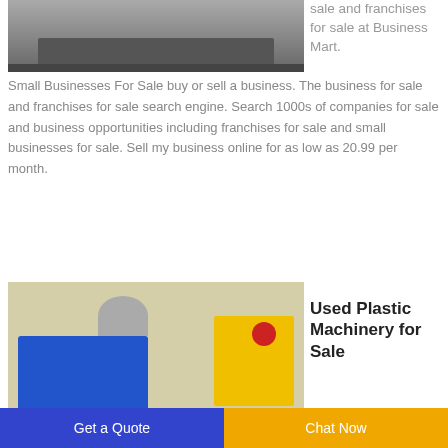[Figure (photo): Industrial machinery or factory interior scene, partially visible at top]
sale and franchises for sale at Business Mart.
Small Businesses For Sale buy or sell a business. The business for sale and franchises for sale search engine. Search 1000s of companies for sale and business opportunities including franchises for sale and small businesses for sale. Sell my business online for as low as 20.99 per month.
[Figure (photo): Used plastic machinery - blue and yellow industrial machine with red button and CE marking]
Used Plastic Machinery for Sale
Get a Quote
Chat Now